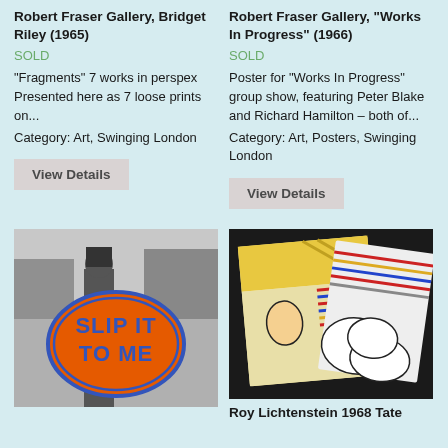Robert Fraser Gallery, Bridget Riley (1965)
SOLD
"Fragments" 7 works in perspex Presented here as 7 loose prints on...
Category: Art, Swinging London
View Details
Robert Fraser Gallery, "Works In Progress" (1966)
SOLD
Poster for "Works In Progress" group show, featuring Peter Blake and Richard Hamilton – both of...
Category: Art, Posters, Swinging London
View Details
[Figure (photo): Black and white photo of a person holding a large orange oval sign reading SLIP IT TO ME in blue text]
[Figure (photo): Roy Lichtenstein 1968 Tate artwork image showing pop art style illustration with comic book elements, stripes and clouds on dark background]
Roy Lichtenstein 1968 Tate